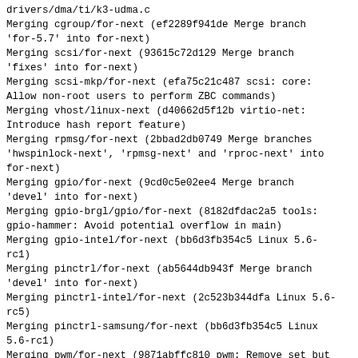drivers/dma/ti/k3-udma.c
Merging cgroup/for-next (ef2289f941de Merge branch 'for-5.7' into for-next)
Merging scsi/for-next (93615c72d129 Merge branch 'fixes' into for-next)
Merging scsi-mkp/for-next (efa75c21c487 scsi: core: Allow non-root users to perform ZBC commands)
Merging vhost/linux-next (d40662d5f12b virtio-net: Introduce hash report feature)
Merging rpmsg/for-next (2bbad2db0749 Merge branches 'hwspinlock-next', 'rpmsg-next' and 'rproc-next' into for-next)
Merging gpio/for-next (9cd0c5e02ee4 Merge branch 'devel' into for-next)
Merging gpio-brgl/gpio/for-next (8182dfdac2a5 tools: gpio-hammer: Avoid potential overflow in main)
Merging gpio-intel/for-next (bb6d3fb354c5 Linux 5.6-rc1)
Merging pinctrl/for-next (ab5644db943f Merge branch 'devel' into for-next)
Merging pinctrl-intel/for-next (2c523b344dfa Linux 5.6-rc5)
Merging pinctrl-samsung/for-next (bb6d3fb354c5 Linux 5.6-rc1)
Merging pwm/for-next (9871abffc810 pwm: Remove set but not set variable 'pwm')
Merging userns/for-next (a0d4a141750d Proc mount option handling is broken, and it has been since I accidentally broke it in the middle 2016.)
CONFLICT (content): Merge conflict in kernel/pid.c